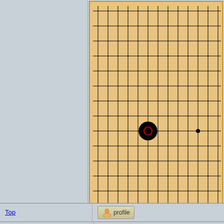[Figure (other): Go board game diagram showing a partial 19x19 grid with a black stone (circle with red center dot) and a small black dot marking on the tan/orange wooden board]
Click Here To Show Diagram Code
Show
Top
[Figure (other): Profile button icon with user silhouette]
fevobod152
Post subject: Re: #267 rlaalswo v. fevobod152
Dies in gote
Posts: 57
Liked others: 1
Was liked: 4
[Figure (other): Second Go board diagram showing coordinate labels A B C D E F G H J K along top and number 19 on left side]